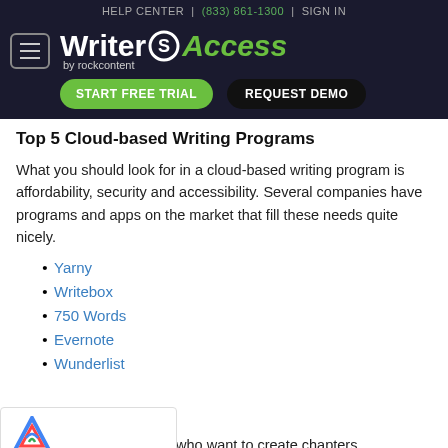HELP CENTER | (833) 861-1300 | SIGN IN
[Figure (logo): WriterAccess by rockcontent logo with hamburger menu button, START FREE TRIAL and REQUEST DEMO buttons on dark background]
Top 5 Cloud-based Writing Programs
What you should look for in a cloud-based writing program is affordability, security and accessibility. Several companies have programs and apps on the market that fill these needs quite nicely.
Yarny
Writebox
750 Words
Evernote
Wunderlist
Yarny is more for writers who want to create chapters